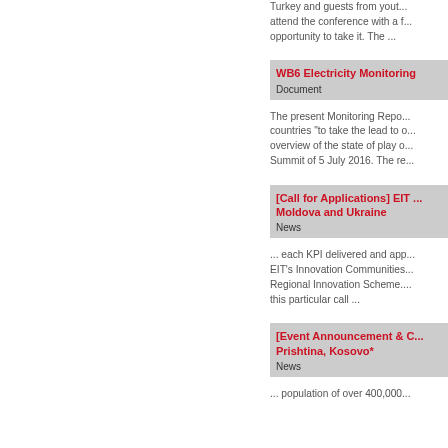Turkey and guests from yout... attend the conference with a f... opportunity to take it. The ...
WB6 Electricity Monitoring
Document
The present Monitoring Repo... countries “to take the lead to o... overview of the state of play o... Summit of 5 July 2016. The re...
[Call for Applications] EIT ... Moldova and Ukraine
News
... each KPI delivered and app... EIT’s Innovation Communities... Regional Innovation Scheme.... this particular call ...
[Event Announcement & C... Prishtina, Kosovo*
News
... population of over 400,000...